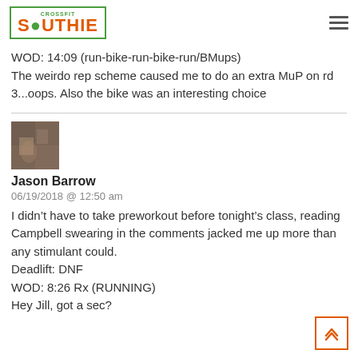[Figure (logo): CrossFit Southie logo in green border with orange text]
WOD: 14:09 (run-bike-run-bike-run/BMups)
The weirdo rep scheme caused me to do an extra MuP on rd 3...oops. Also the bike was an interesting choice
[Figure (photo): Small avatar photo of Jason Barrow]
Jason Barrow
06/19/2018 @ 12:50 am
I didn't have to take preworkout before tonight's class, reading Campbell swearing in the comments jacked me up more than any stimulant could.
Deadlift: DNF
WOD: 8:26 Rx (RUNNING)
Hey Jill, got a sec?